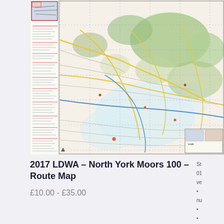[Figure (map): Topographic route map of North York Moors 100, showing roads, paths, terrain, and green highland areas. Map includes a legend strip on the left side and a small inset/key box in the lower right corner.]
2017 LDWA – North York Moors 100 – Route Map
£10.00 - £35.00